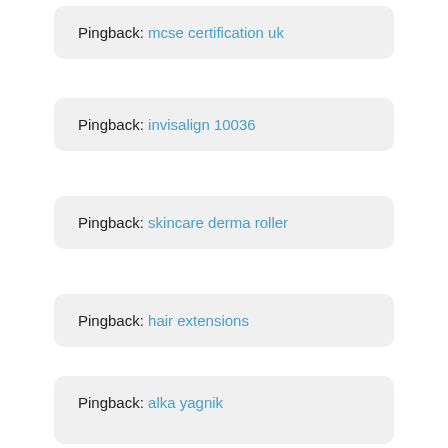Pingback: mcse certification uk
Pingback: invisalign 10036
Pingback: skincare derma roller
Pingback: hair extensions
Pingback: alka yagnik